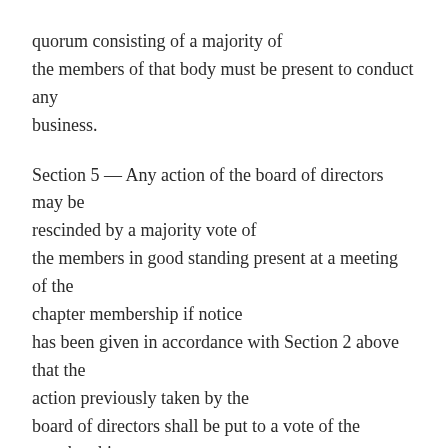quorum consisting of a majority of the members of that body must be present to conduct any business.
Section 5 — Any action of the board of directors may be rescinded by a majority vote of the members in good standing present at a meeting of the chapter membership if notice has been given in accordance with Section 2 above that the action previously taken by the board of directors shall be put to a vote of the membership at the meeting.
Section 6 — Robert's Rules of Order shall be the parliamentary authority for all matters of procedure not specifically covered by these bylaws.